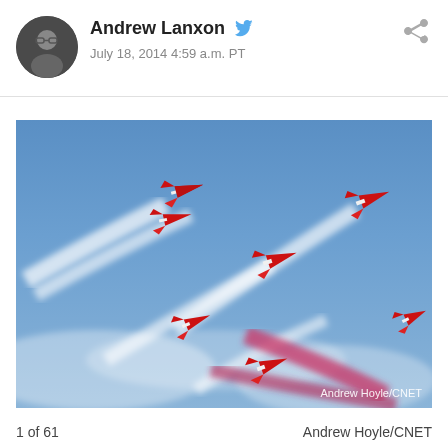Andrew Lanxon — July 18, 2014 4:59 a.m. PT
[Figure (photo): Red Arrows aerobatic display team jets flying in formation with white and pink smoke trails against a blue sky. Photo credit: Andrew Hoyle/CNET]
1 of 61    Andrew Hoyle/CNET